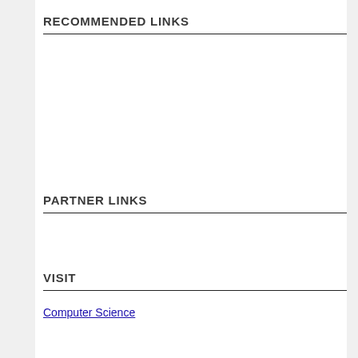RECOMMENDED LINKS
PARTNER LINKS
VISIT
Computer Science